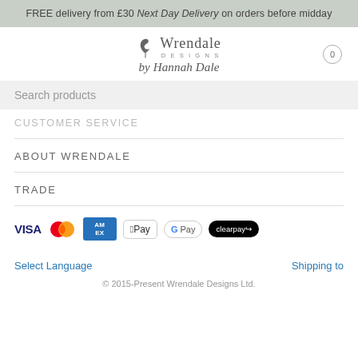FREE delivery from £30 Next Day Delivery on orders before midday
[Figure (logo): Wrendale Designs by Hannah Dale logo with bird icon]
Search products
CUSTOMER SERVICE
ABOUT WRENDALE
TRADE
[Figure (other): Payment method icons: VISA, Mastercard, American Express, Apple Pay, Google Pay, Clearpay]
Select Language
Shipping to
© 2015-Present Wrendale Designs Ltd.